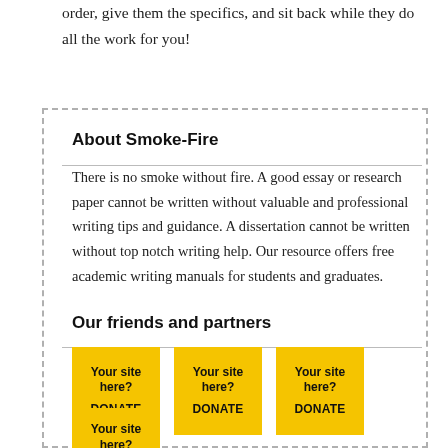order, give them the specifics, and sit back while they do all the work for you!
About Smoke-Fire
There is no smoke without fire. A good essay or research paper cannot be written without valuable and professional writing tips and guidance. A dissertation cannot be written without top notch writing help. Our resource offers free academic writing manuals for students and graduates.
Our friends and partners
[Figure (infographic): Four yellow tiles each reading 'Your site here? DONATE', arranged in a 3+1 grid layout representing partner advertising slots.]